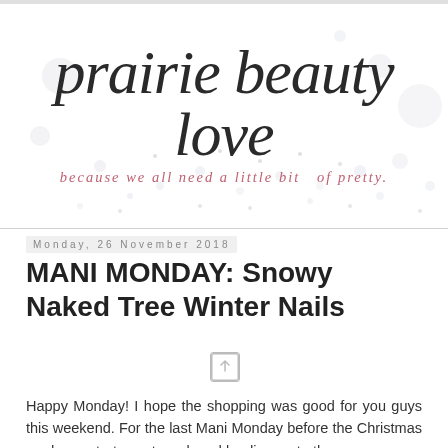[Figure (logo): Prairie Beauty Love blog logo with script text and tagline 'because we all need a little bit of pretty.' with decorative snow dot background]
Monday, 26 November 2018
MANI MONDAY: Snowy Naked Tree Winter Nails
Happy Monday! I hope the shopping was good for you guys this weekend. For the last Mani Monday before the Christmas madness starts next week and leading up to the